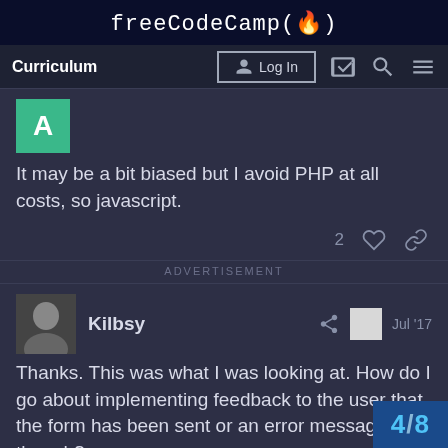freeCodeCamp(🔥)
Curriculum  Log In
[Figure (screenshot): Green avatar square with letter A]
It may be a bit biased but I avoid PHP at all costs, so javascript.
2 ♡ 🔗
ADVERTISEMENT
Kilbsy  Jul '17
Thanks. This was what I was looking at. How do I go about implementing feedback to the user that the form has been sent or an error message though?
Whichever way is the standard way I
4/8